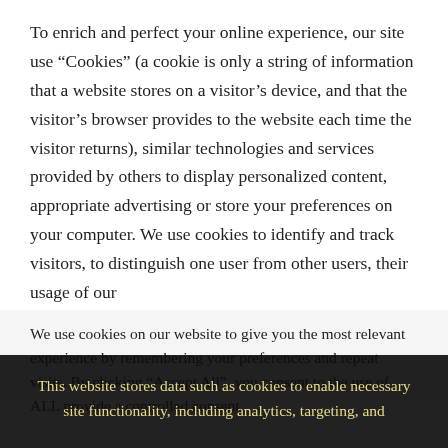To enrich and perfect your online experience, our site use “Cookies” (a cookie is only a string of information that a website stores on a visitor’s device, and that the visitor’s browser provides to the website each time the visitor returns), similar technologies and services provided by others to display personalized content, appropriate advertising or store your preferences on your computer. We use cookies to identify and track visitors, to distinguish one user from other users, their usage of our
We use cookies on our website to give you the most relevant experience by remembering your preferences and repeat visits. By clicking “Accept All”, you consent to the use of ALL provide a controlled consent.
This website stores data such as cookies to enable necessary site functionality, including analytics, targeting, and personalization. By remaining on this website you indicate your consent Cookie Policy